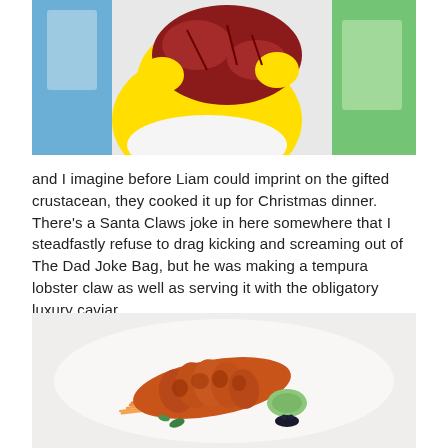[Figure (illustration): Animated cartoon scene (The Simpsons style) showing a yellow character holding a large dark red lobster claw with both hands. Blue and green background elements visible.]
and I imagine before Liam could imprint on the gifted crustacean, they cooked it up for Christmas dinner. There's a Santa Claws joke in here somewhere that I steadfastly refuse to drag kicking and screaming out of The Dad Joke Bag, but he was making a tempura lobster claw as well as serving it with the obligatory luxury caviar
[Figure (photo): Photo of a plated dish on a white plate: a fried/tempura lobster claw coated in a crispy orange-brown batter, served on a bed of shredded carrots, with a green sauce/purée and dark caviar garnish.]